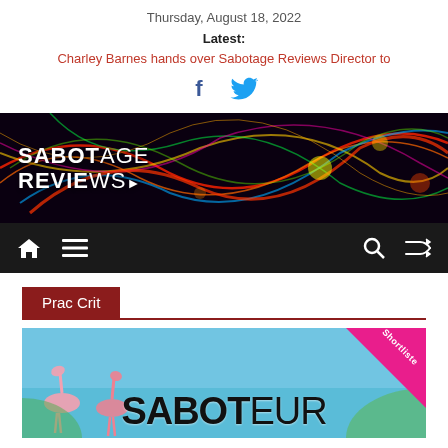Thursday, August 18, 2022
Latest:
Charley Barnes hands over Sabotage Reviews Director to
[Figure (other): Facebook and Twitter social media icons]
[Figure (other): Sabotage Reviews website banner with colorful light streaks background and SABOTAGE REVIEWS logo text]
[Figure (other): Navigation bar with home icon, hamburger menu icon, search icon, and shuffle icon on dark background]
Prac Crit
[Figure (other): Book cover image for Saboteur award with flamingos and SABOTEUR text, with pink Shortlisted diagonal badge]